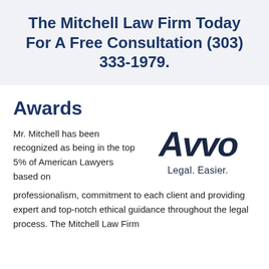The Mitchell Law Firm Today For A Free Consultation (303) 333-1979.
Awards
Mr. Mitchell has been recognized as being in the top 5% of American Lawyers based on professionalism, commitment to each client and providing expert and top-notch ethical guidance throughout the legal process. The Mitchell Law Firm
[Figure (logo): Avvo logo with text 'Avvo' in large bold italic dark navy font and tagline 'Legal. Easier.' below]